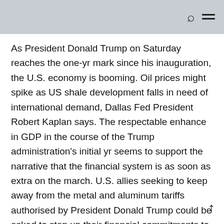As President Donald Trump on Saturday reaches the one-yr mark since his inauguration, the U.S. economy is booming. Oil prices might spike as US shale development falls in need of international demand, Dallas Fed President Robert Kaplan says. The respectable enhance in GDP in the course of the Trump administration's initial yr seems to support the narrative that the financial system is as soon as extra on the march. U.S. allies seeking to keep away from the metal and aluminum tariffs authorised by President Donald Trump could be asked to step up their financial commitments to NATO.
Hong Kong's commerce efficiency is partly affected by outward processing actions in Guangdong where the majority of Hong Kong firms have prolonged their